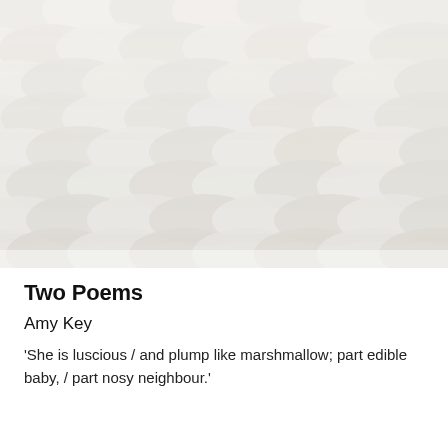[Figure (photo): Close-up photograph of layered white scalloped or wave-patterned textile or paper artwork, showing rows of overlapping rounded shapes creating a soft textured surface.]
Two Poems
Amy Key
‘She is luscious / and plump like marshmallow; part edible baby, / part nosy neighbour.’